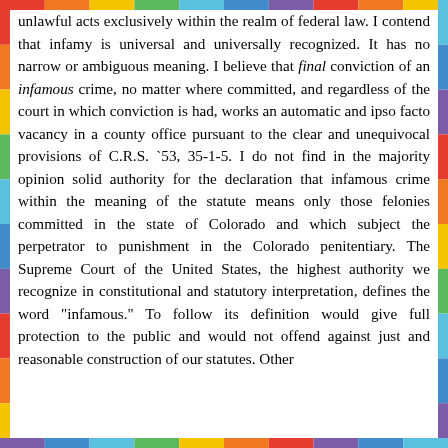unlawful acts exclusively within the realm of federal law. I contend that infamy is universal and universally recognized. It has no narrow or ambiguous meaning. I believe that final conviction of an infamous crime, no matter where committed, and regardless of the court in which conviction is had, works an automatic and ipso facto vacancy in a county office pursuant to the clear and unequivocal provisions of C.R.S. `53, 35-1-5. I do not find in the majority opinion solid authority for the declaration that infamous crime within the meaning of the statute means only those felonies committed in the state of Colorado and which subject the perpetrator to punishment in the Colorado penitentiary. The Supreme Court of the United States, the highest authority we recognize in constitutional and statutory interpretation, defines the word "infamous." To follow its definition would give full protection to the public and would not offend against just and reasonable construction of our statutes. Other